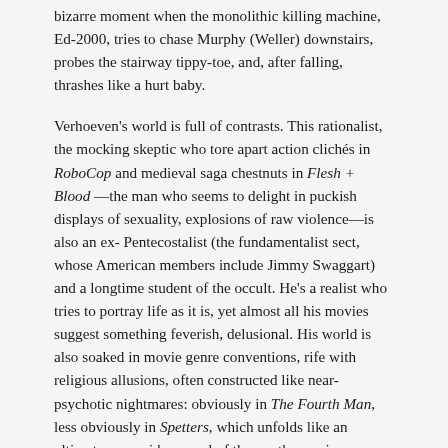bizarre moment when the monolithic killing machine, Ed-2000, tries to chase Murphy (Weller) downstairs, probes the stairway tippy-toe, and, after falling, thrashes like a hurt baby.
Verhoeven's world is full of contrasts. This rationalist, the mocking skeptic who tore apart action clichés in RoboCop and medieval saga chestnuts in Flesh + Blood—the man who seems to delight in puckish displays of sexuality, explosions of raw violence—is also an ex-Pentecostalist (the fundamentalist sect, whose American members include Jimmy Swaggart) and a longtime student of the occult. He's a realist who tries to portray life as it is, yet almost all his movies suggest something feverish, delusional. His world is also soaked in movie genre conventions, rife with religious allusions, often constructed like near-psychotic nightmares: obviously in The Fourth Man, less obviously in Spetters, which unfolds like an ultimate paranoid reversal of the youth-movie success story. There's something jittery and